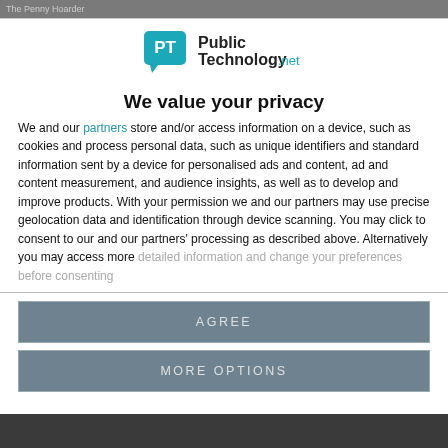The Penny Hoarder
[Figure (logo): PublicTechnology.net logo with PT speech bubble icon in teal/blue]
We value your privacy
We and our partners store and/or access information on a device, such as cookies and process personal data, such as unique identifiers and standard information sent by a device for personalised ads and content, ad and content measurement, and audience insights, as well as to develop and improve products. With your permission we and our partners may use precise geolocation data and identification through device scanning. You may click to consent to our and our partners' processing as described above. Alternatively you may access more detailed information and change your preferences before consenting
AGREE
MORE OPTIONS